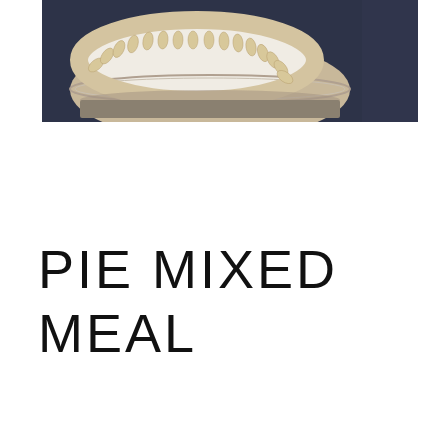[Figure (photo): Top-down view of an unbaked pie with decorative crimped pastry crust in a foil pie dish, set against a dark grey/navy background.]
PIE MIXED MEAL